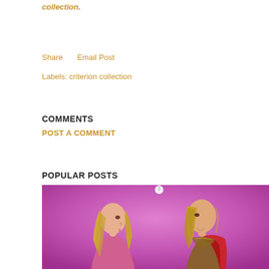collection.
Share    Email Post
Labels: criterion collection
COMMENTS
POST A COMMENT
POPULAR POSTS
[Figure (photo): Two people facing each other against a pink/purple background. A woman with long blonde hair and a man with long blonde hair wearing a red cape (Thor-like character).]